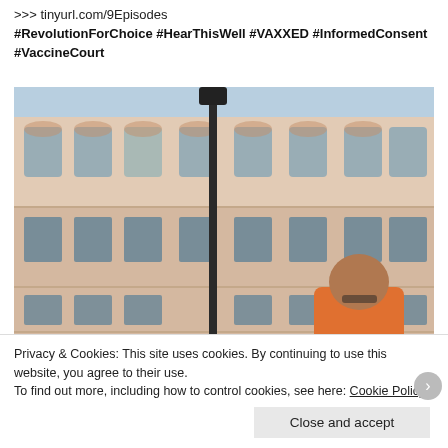Protect yourself and your CHILDREN from this corrupt, heartless system
>>> tinyurl.com/9Episodes
#RevolutionForChoice #HearThisWell #VAXXED #InformedConsent
#VaccineCourt
[Figure (photo): Outdoor photograph showing people standing in front of a large ornate European-style building (pink/beige facade with arched windows), with a black street lamp in the center foreground. A person in an orange top is visible on the right side.]
Privacy & Cookies: This site uses cookies. By continuing to use this website, you agree to their use.
To find out more, including how to control cookies, see here: Cookie Policy
Close and accept